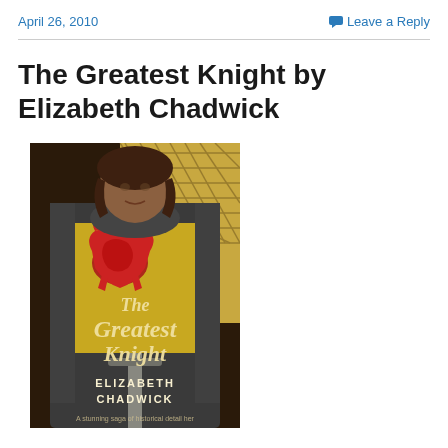April 26, 2010    Leave a Reply
The Greatest Knight by Elizabeth Chadwick
[Figure (illustration): Book cover of 'The Greatest Knight' by Elizabeth Chadwick, depicting a medieval knight in chainmail and yellow surcoat with a red lion emblem, holding a sword, with the book title in ornate script and author name at the bottom.]